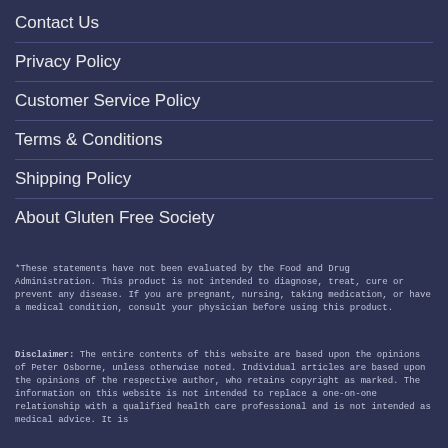Contact Us
Privacy Policy
Customer Service Policy
Terms & Conditions
Shipping Policy
About Gluten Free Society
*These statements have not been evaluated by the Food and Drug Administration. This product is not intended to diagnose, treat, cure or prevent any disease. If you are pregnant, nursing, taking medication, or have a medical condition, consult your physician before using this product.
Disclaimer: The entire contents of this website are based upon the opinions of Peter Osborne, unless otherwise noted. Individual articles are based upon the opinions of the respective author, who retains copyright as marked. The information on this website is not intended to replace a one-on-one relationship with a qualified health care professional and is not intended as medical advice. It is